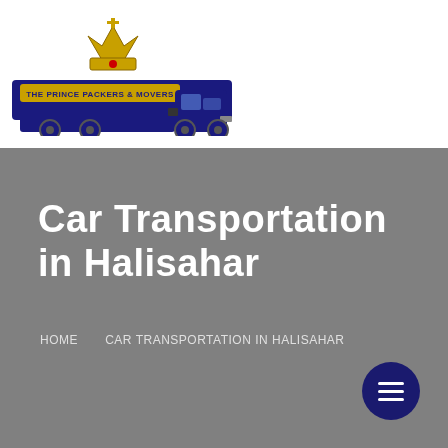[Figure (logo): The Prince Packers & Movers logo: a crown above a dark blue truck/semi-trailer with gold banner text 'THE PRINCE PACKERS & MOVERS']
Car Transportation in Halisahar
HOME   CAR TRANSPORTATION IN HALISAHAR